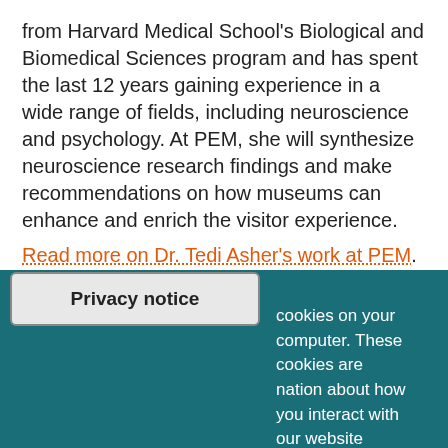from Harvard Medical School's Biological and Biomedical Sciences program and has spent the last 12 years gaining experience in a wide range of fields, including neuroscience and psychology. At PEM, she will synthesize neuroscience research findings and make recommendations on how museums can enhance and enrich the visitor experience.
Read more on Dr. Tedi Asher's work at PEM.
Privacy notice
cookies on your computer. These cookies are ation about how you interact with our website and allow us to remember you. We use this information in order to improve and customize your browsing experience and for analytics and metrics about our visitors both on this website and other media. To find out more about the cookies we use, see our Privacy Policy.
I ACCEPT